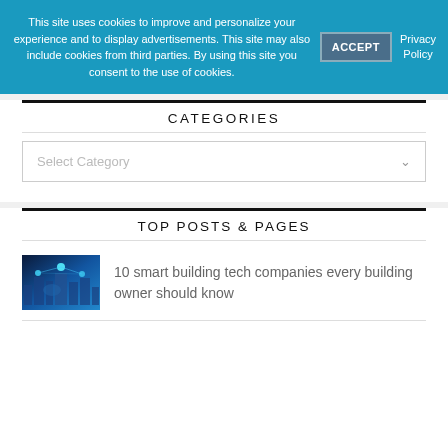This site uses cookies to improve and personalize your experience and to display advertisements. This site may also include cookies from third parties. By using this site you consent to the use of cookies.
ACCEPT
Privacy Policy
CATEGORIES
Select Category
TOP POSTS & PAGES
[Figure (photo): Thumbnail image with blue tech/digital building illustration]
10 smart building tech companies every building owner should know